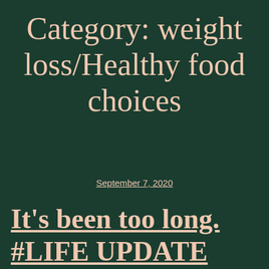Category: weight loss/Healthy food choices
September 7, 2020
It’s been too long. #LIFE UPDATE